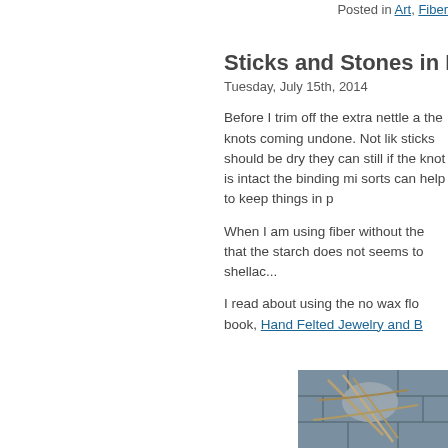Posted in Art, Fiber
Sticks and Stones in Progress
Tuesday, July 15th, 2014
Before I trim off the extra nettle a the knots coming undone. Not lik sticks should be dry they can still if the knot is intact the binding mi sorts can help to keep things in p
When I am using fiber without the that the starch does not seems to shellac...
I read about using the no wax flo book, Hand Felted Jewelry and B
[Figure (photo): Close-up photo of felted jewelry piece showing stones and sticks bound with fiber on a blue-grey tiled background]